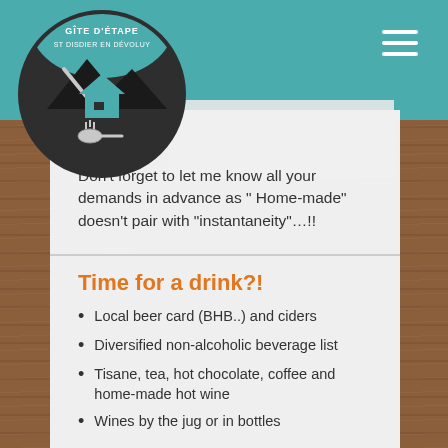[Figure (logo): Gîte d'Étape St Disdier en Dévoluy circular logo with teal and dark background, house and mountain icon]
Don't forget to let me know all your demands in advance as " Home-made" doesn't pair with "instantaneity"…!!
Time for a drink?!
Local beer card (BHB..) and ciders
Diversified non-alcoholic beverage list
Tisane, tea, hot chocolate, coffee and home-made hot wine
Wines by the jug or in bottles